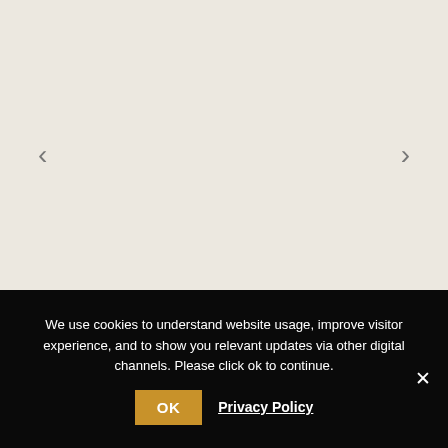[Figure (screenshot): Image slider area with beige/cream background and left/right navigation arrows]
We use cookies to understand website usage, improve visitor experience, and to show you relevant updates via other digital channels. Please click ok to continue.
OK
Privacy Policy